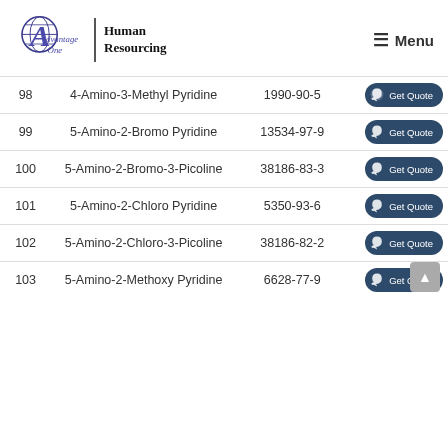Advantage One Human Resourcing — Menu
| # | Name | CAS | Action |
| --- | --- | --- | --- |
| 98 | 4-Amino-3-Methyl Pyridine | 1990-90-5 | Get Quote |
| 99 | 5-Amino-2-Bromo Pyridine | 13534-97-9 | Get Quote |
| 100 | 5-Amino-2-Bromo-3-Picoline | 38186-83-3 | Get Quote |
| 101 | 5-Amino-2-Chloro Pyridine | 5350-93-6 | Get Quote |
| 102 | 5-Amino-2-Chloro-3-Picoline | 38186-82-2 | Get Quote |
| 103 | 5-Amino-2-Methoxy Pyridine | 6628-77-9 | Get Quote |